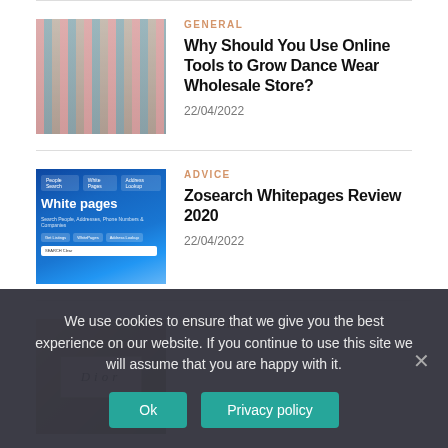[Figure (photo): Thumbnail image of a dance wear store with pink and blue clothing on racks]
GENERAL
Why Should You Use Online Tools to Grow Dance Wear Wholesale Store?
22/04/2022
[Figure (screenshot): Screenshot of Zosearch Whitepages website showing White pages heading and search interface]
ADVICE
Zosearch Whitepages Review 2020
22/04/2022
[Figure (photo): Thumbnail image of a Dior product box]
GENERAL
We use cookies to ensure that we give you the best experience on our website. If you continue to use this site we will assume that you are happy with it.
Ok
Privacy policy